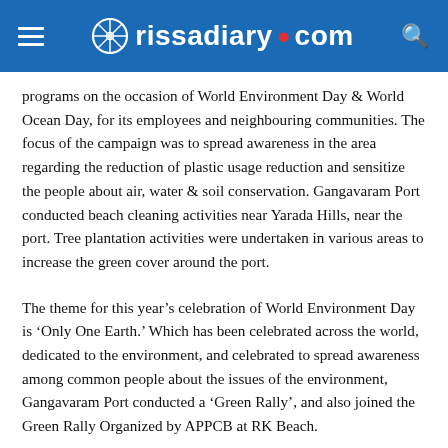rissadiary.com
programs on the occasion of World Environment Day & World Ocean Day, for its employees and neighbouring communities. The focus of the campaign was to spread awareness in the area regarding the reduction of plastic usage reduction and sensitize the people about air, water & soil conservation. Gangavaram Port conducted beach cleaning activities near Yarada Hills, near the port. Tree plantation activities were undertaken in various areas to increase the green cover around the port.
The theme for this year's celebration of World Environment Day is ‘Only One Earth.’ Which has been celebrated across the world, dedicated to the environment, and celebrated to spread awareness among common people about the issues of the environment, Gangavaram Port conducted a ‘Green Rally’, and also joined the Green Rally Organized by APPCB at RK Beach.